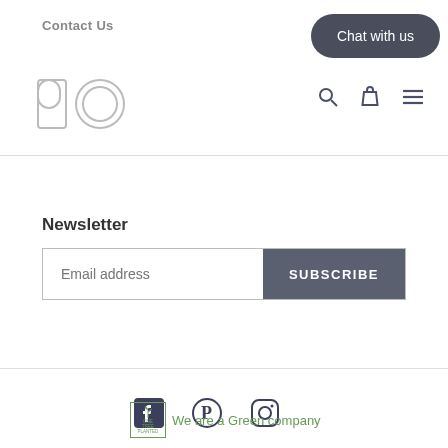Contact Us
[Figure (logo): PO brand logo in outline style, two overlapping letters P and O]
[Figure (infographic): Navigation icons: search magnifier, shopping bag, hamburger menu]
Newsletter
Email address
SUBSCRIBE
[Figure (infographic): Social media icons: Facebook, Pinterest, Instagram]
Chat with us
[Figure (logo): One Tree Planted green certification badge]
We are a Green company